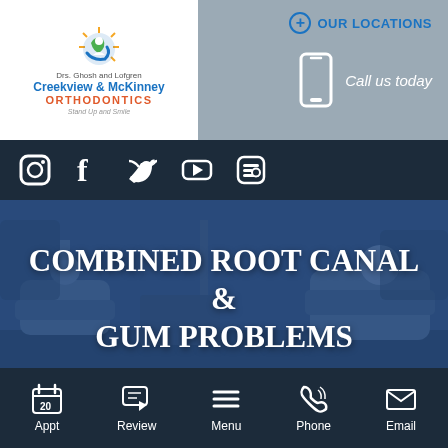Drs. Ghosh and Lofgren Creekview & McKinney ORTHODONTICS Stand Up and Smile
+ OUR LOCATIONS
Call us today
[Figure (screenshot): Social media icons: Instagram, Facebook, Twitter, YouTube, Blogger; phone icon with 'Call us today' text]
COMBINED ROOT CANAL & GUM PROBLEMS
[Figure (photo): Dental office interior with dental chairs, blue-tinted overlay]
Appt   Review   Menu   Phone   Email